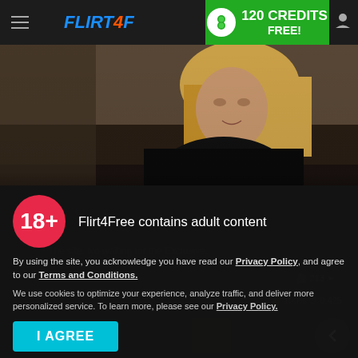FLIRT4FREE — 120 CREDITS FREE!
[Figure (screenshot): Webcam video preview showing a blonde woman sitting on a dark couch, smiling at the camera]
18+  Flirt4Free contains adult content
By using the site, you acknowledge you have read our Privacy Policy, and agree to our Terms and Conditions.
We use cookies to optimize your experience, analyze traffic, and deliver more personalized service. To learn more, please see our Privacy Policy.
I AGREE